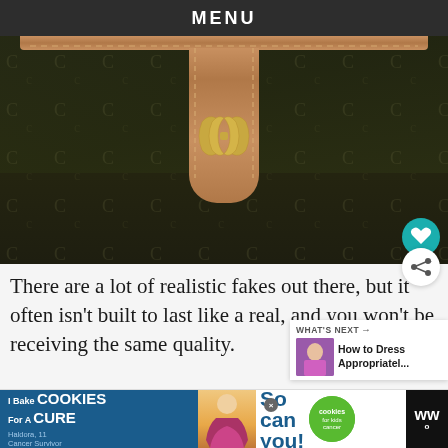MENU
[Figure (photo): Close-up of a Celine designer handbag with dark monogram canvas, tan/brown leather strap and flap, and gold CC logo hardware. Background shows green foliage. A teal heart/favorite button appears at bottom right.]
There are a lot of realistic fakes out there, but it often isn't built to last like a real, and you won't be receiving the same quality.
[Figure (screenshot): What's Next widget with thumbnail of a woman in a floral dress and text 'How to Dress Appropriatel...']
[Figure (screenshot): Advertisement banner: 'I Bake COOKIES For A CURE' with Haldora, 11 Cancer Survivor, and 'So can you!' cookies for kids cancer logo. A dark WW logo appears at right.]